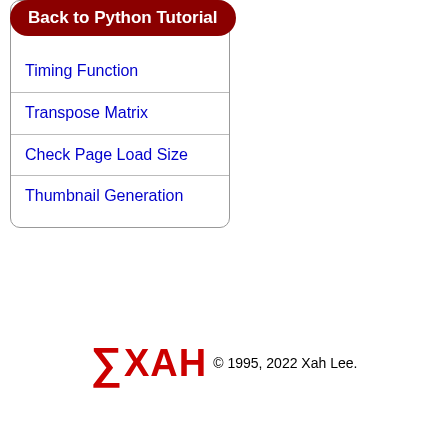Back to Python Tutorial
Timing Function
Transpose Matrix
Check Page Load Size
Thumbnail Generation
∑XAH © 1995, 2022 Xah Lee.